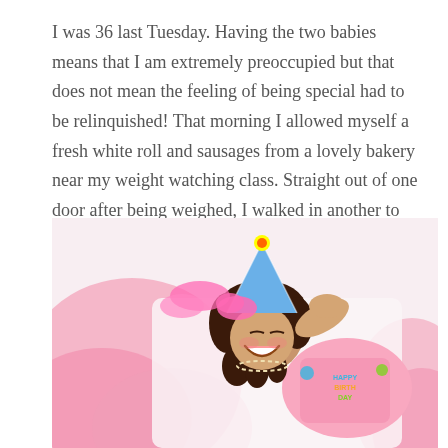I was 36 last Tuesday. Having the two babies means that I am extremely preoccupied but that does not mean the feeling of being special had to be relinquished! That morning I allowed myself a fresh white roll and sausages from a lovely bakery near my weight watching class. Straight out of one door after being weighed, I walked in another to indulge. It was top! Irony made it taste all more savoury.
[Figure (photo): A young girl lying on her back, smiling broadly, wearing a pink Happy Birthday shirt and a colorful party hat. She has dark curly hair and is surrounded by pink tulle fabric.]